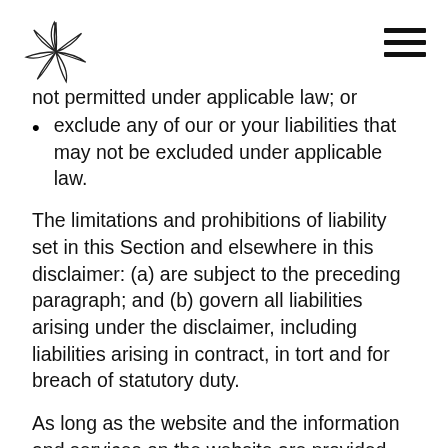[Logo and navigation hamburger menu]
not permitted under applicable law; or
exclude any of our or your liabilities that may not be excluded under applicable law.
The limitations and prohibitions of liability set in this Section and elsewhere in this disclaimer: (a) are subject to the preceding paragraph; and (b) govern all liabilities arising under the disclaimer, including liabilities arising in contract, in tort and for breach of statutory duty.
As long as the website and the information and services on the website are provided free of charge, we will not be liable for any loss or damage of any nature.